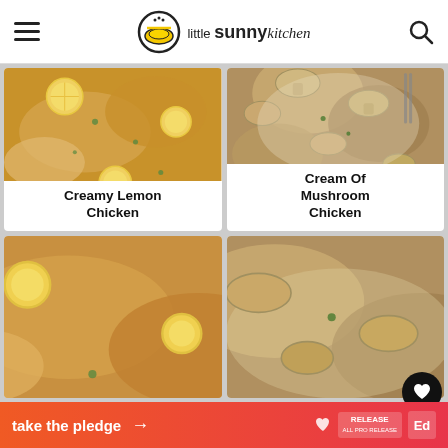little sunny kitchen
[Figure (photo): Creamy lemon chicken dish with lemon slices and parsley garnish]
Creamy Lemon Chicken
[Figure (photo): Cream of mushroom chicken dish with mushrooms in creamy sauce]
Cream Of Mushroom Chicken
[Figure (photo): Partial view of a chicken dish from lower left card]
[Figure (photo): Partial view of a mushroom chicken dish from lower right card]
take the pledge →